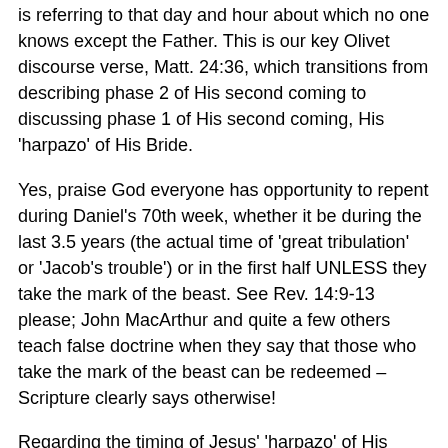is referring to that day and hour about which no one knows except the Father. This is our key Olivet discourse verse, Matt. 24:36, which transitions from describing phase 2 of His second coming to discussing phase 1 of His second coming, His 'harpazo' of His Bride.
Yes, praise God everyone has opportunity to repent during Daniel's 70th week, whether it be during the last 3.5 years (the actual time of 'great tribulation' or 'Jacob's trouble') or in the first half UNLESS they take the mark of the beast. See Rev. 14:9-13 please; John MacArthur and quite a few others teach false doctrine when they say that those who take the mark of the beast can be redeemed – Scripture clearly says otherwise!
Regarding the timing of Jesus' 'harpazo' of His Bride, I will now open up a whole new exciting dimension (get